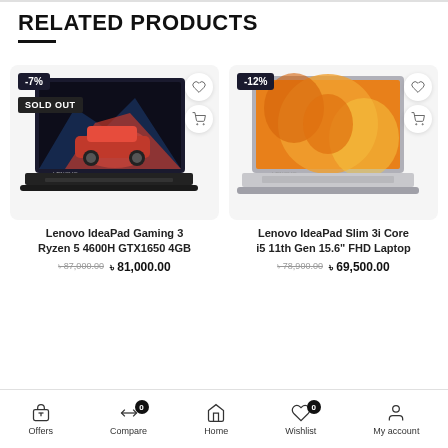RELATED PRODUCTS
[Figure (screenshot): Lenovo IdeaPad Gaming 3 laptop with dark gaming wallpaper showing a sports car, marked SOLD OUT]
Lenovo IdeaPad Gaming 3 Ryzen 5 4600H GTX1650 4GB
৳ 87,000.00  ৳ 81,000.00
[Figure (screenshot): Lenovo IdeaPad Slim 3i laptop in silver/grey with orange floral wallpaper]
Lenovo IdeaPad Slim 3i Core i5 11th Gen 15.6" FHD Laptop
৳ 78,900.00  ৳ 69,500.00
Offers  Compare  Home  Wishlist  My account